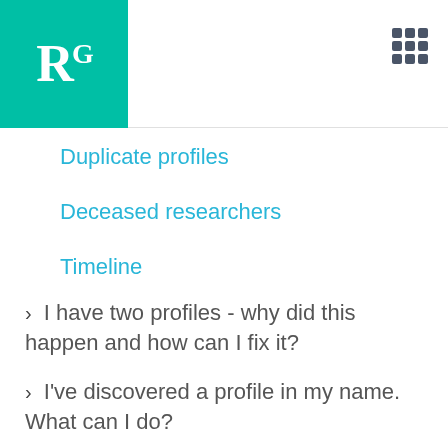[Figure (logo): ResearchGate RG logo in teal/green square]
[Figure (other): Grid/apps icon in top right corner]
Duplicate profiles
Deceased researchers
Timeline
I have two profiles - why did this happen and how can I fix it?
I've discovered a profile in my name. What can I do?